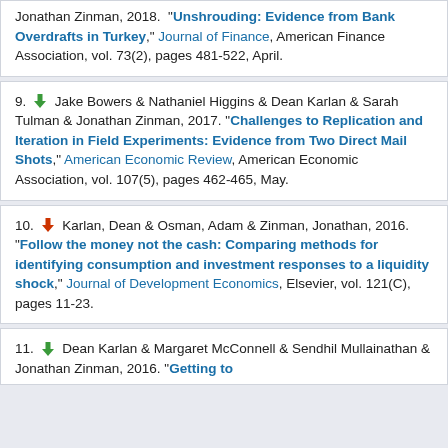Jonathan Zinman, 2018. "Unshrouding: Evidence from Bank Overdrafts in Turkey," Journal of Finance, American Finance Association, vol. 73(2), pages 481-522, April.
9. Jake Bowers & Nathaniel Higgins & Dean Karlan & Sarah Tulman & Jonathan Zinman, 2017. "Challenges to Replication and Iteration in Field Experiments: Evidence from Two Direct Mail Shots," American Economic Review, American Economic Association, vol. 107(5), pages 462-465, May.
10. Karlan, Dean & Osman, Adam & Zinman, Jonathan, 2016. "Follow the money not the cash: Comparing methods for identifying consumption and investment responses to a liquidity shock," Journal of Development Economics, Elsevier, vol. 121(C), pages 11-23.
11. Dean Karlan & Margaret McConnell & Sendhil Mullainathan & Jonathan Zinman, 2016. "Getting to...